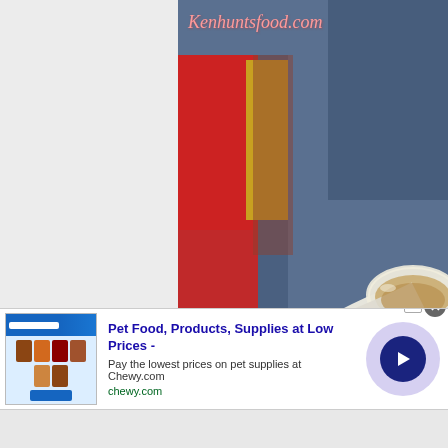[Figure (photo): Close-up food photograph showing a white ceramic spoon filled with a light brown broth or sauce, with colorful blurred condiment bottles in the background (red, yellow, grey). Watermark 'Kenhuntsfood.com' overlaid in pink italic script at top.]
[Figure (screenshot): Advertisement banner for Chewy.com: 'Pet Food, Products, Supplies at Low Prices - Pay the lowest prices on pet supplies at Chewy.com'. Includes a blue themed thumbnail image on the left, a close button (X) in grey circle, a navigation arrow in dark blue circle surrounded by purple haze, and small product thumbnail icons at the bottom.]